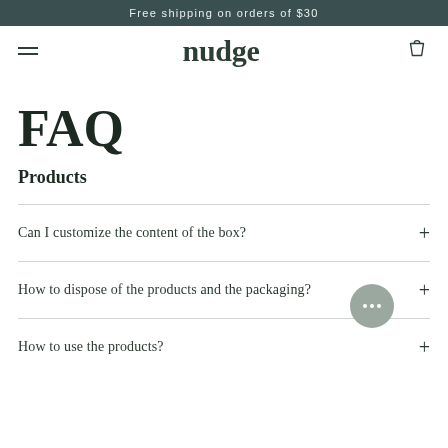Free shipping on orders of $30
nudge
FAQ
Products
Can I customize the content of the box?
How to dispose of the products and the packaging?
How to use the products?